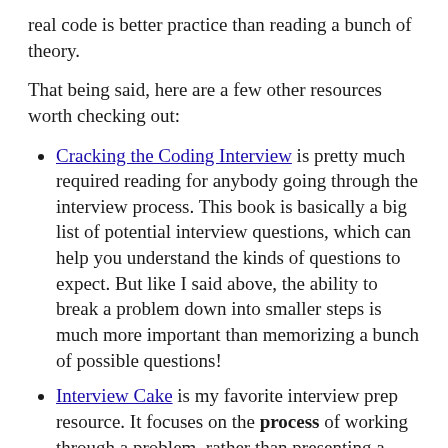real code is better practice than reading a bunch of theory.
That being said, here are a few other resources worth checking out:
Cracking the Coding Interview is pretty much required reading for anybody going through the interview process. This book is basically a big list of potential interview questions, which can help you understand the kinds of questions to expect. But like I said above, the ability to break a problem down into smaller steps is much more important than memorizing a bunch of possible questions!
Interview Cake is my favorite interview prep resource. It focuses on the process of working through a problem, rather than presenting a one-size-fits-all solution. It's a little pricey, so I feel a little weird about endorsing it. But honestly this was the